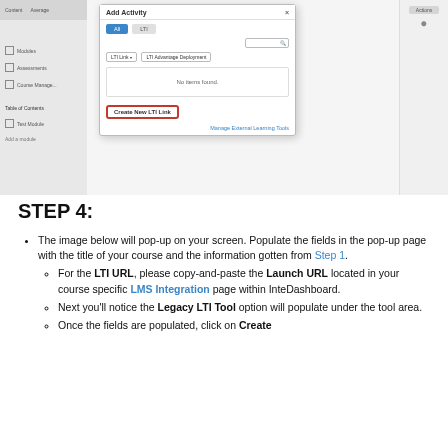[Figure (screenshot): Screenshot of an LMS 'Add Activity' modal dialog showing 'Create New LTI Link' button highlighted with a red border, and a 'Manage External Learning Tools' link. The modal shows 'No items found.' in the content area with LTI Link and LTI Advantage Deployment dropdowns.]
STEP 4:
The image below will pop-up on your screen. Populate the fields in the pop-up page with the title of your course and the information gotten from Step 1.
For the LTI URL, please copy-and-paste the Launch URL located in your course specific LMS Integration page within InteDashboard.
Next you'll notice the Legacy LTI Tool option will populate under the tool area.
Once the fields are populated, click on Create